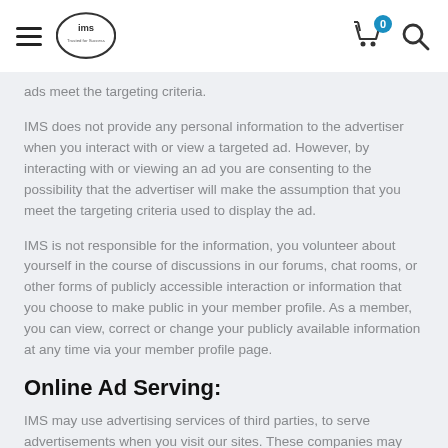IMS header with logo, cart (0), and search icon
ads meet the targeting criteria.
IMS does not provide any personal information to the advertiser when you interact with or view a targeted ad. However, by interacting with or viewing an ad you are consenting to the possibility that the advertiser will make the assumption that you meet the targeting criteria used to display the ad.
IMS is not responsible for the information, you volunteer about yourself in the course of discussions in our forums, chat rooms, or other forms of publicly accessible interaction or information that you choose to make public in your member profile. As a member, you can view, correct or change your publicly available information at any time via your member profile page.
Online Ad Serving:
IMS may use advertising services of third parties, to serve advertisements when you visit our sites. These companies may use information (not including your name, address, e-mail address, telephone number, or any other information you've provided to us) about your visits to our and other web sites in